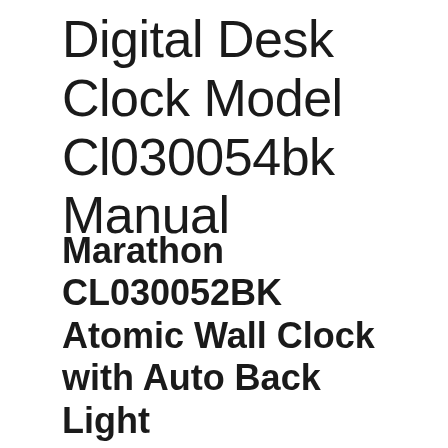Digital Desk Clock Model Cl030054bk Manual
Marathon CL030052BK Atomic Wall Clock with Auto Back Light